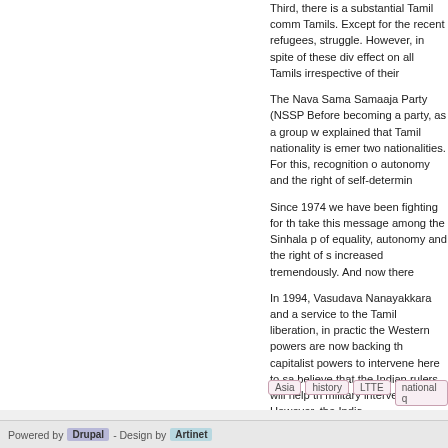Third, there is a substantial Tamil comm... Tamils. Except for the recent refugees, struggle. However, in spite of these div effect on all Tamils irrespective of their
The Nava Sama Samaaja Party (NSSP Before becoming a party, as a group w explained that Tamil nationality is emer two nationalities. For this, recognition o autonomy and the right of self-determin
Since 1974 we have been fighting for th take this message among the Sinhala p of equality, autonomy and the right of s increased tremendously. And now there
In 1994, Vasudava Nanayakkara and a service to the Tamil liberation, in practic the Western powers are now backing th capitalist powers to intervene here to sa believe that the Indian rulers will help th military intervention. However, the India
Today Sinhala chauvinists, such as Gu them and regret that it was not fully util led by the Americans. The Tamils have the Mahinda Rajapaksa government th appears to believe that suicidal attacks among the left democratic forces intern democratic forces both locally and inter
Asia
history
LTTE
national q
Powered by Drupal - Design by Artinet